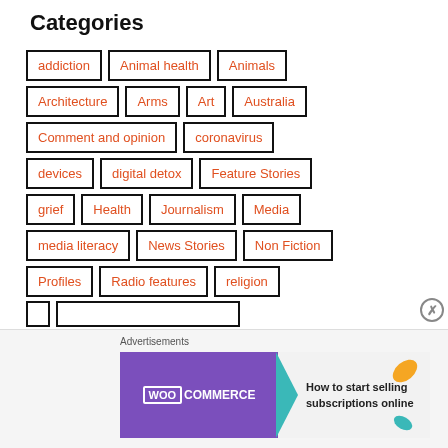Categories
addiction
Animal health
Animals
Architecture
Arms
Art
Australia
Comment and opinion
coronavirus
devices
digital detox
Feature Stories
grief
Health
Journalism
Media
media literacy
News Stories
Non Fiction
Profiles
Radio features
religion
Advertisements
[Figure (infographic): WooCommerce advertisement banner: purple background with WooCommerce logo and arrow, text 'How to start selling subscriptions online', orange and teal leaf decorations]